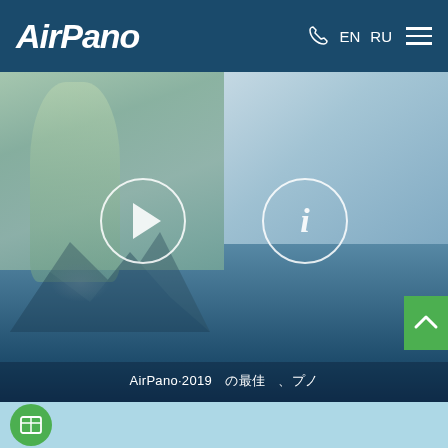[Figure (screenshot): AirPano website header with logo, phone icon, EN/RU language switcher, and hamburger menu on dark blue background]
[Figure (photo): AirPano 2019 panoramic video thumbnail showing split image: left side with a greenish statue/figure in misty landscape, right side with icy/snowy terrain. Play button and info button overlaid in circle icons. Caption reads AirPano 2019 with Japanese/CJK characters. Green scroll-to-top button visible at right edge.]
[Figure (screenshot): Bottom band in light blue with green circular map icon partially visible]